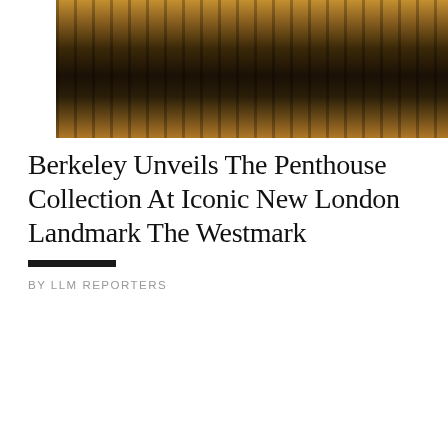[Figure (photo): Aerial view of city skyline with tall modern skyscrapers photographed at dusk/golden hour, warm amber and dark tones]
Berkeley Unveils The Penthouse Collection At Iconic New London Landmark The Westmark
BY LLM REPORTERS
[Figure (photo): Interior of a luxury penthouse or hotel lobby with stone walls, blue ceiling with mood lighting, decorative vertical elements, partial view of artwork]
Scroll to Top